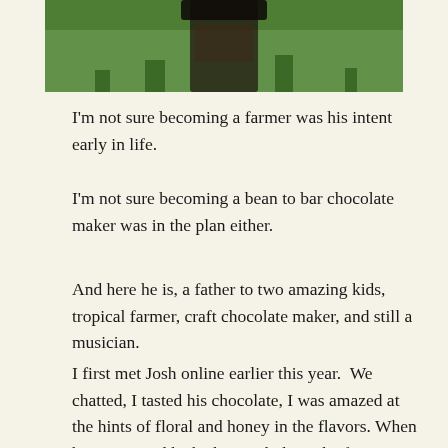[Figure (photo): Top portion of a photo showing a glass jar with dark contents against a green grass background, partially cropped.]
I'm not sure becoming a farmer was his intent early in life.
I'm not sure becoming a bean to bar chocolate maker was in the plan either.
And here he is, a father to two amazing kids, tropical farmer, craft chocolate maker, and still a musician.
I first met Josh online earlier this year.  We chatted, I tasted his chocolate, I was amazed at the hints of floral and honey in the flavors. When he mentioned he had an Airbnb on the farm it didn't take me long to book tickets and head to Hawai'i to see what we would find (We found